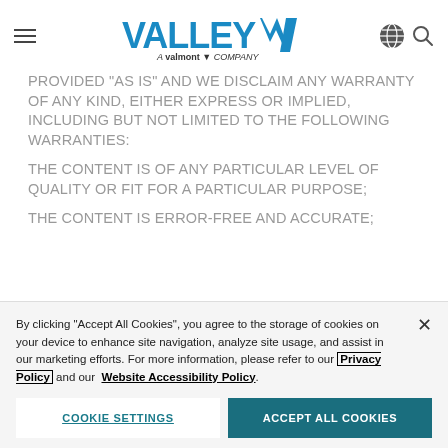Valley - A Valmont Company
PROVIDED "AS IS" AND WE DISCLAIM ANY WARRANTY OF ANY KIND, EITHER EXPRESS OR IMPLIED, INCLUDING BUT NOT LIMITED TO THE FOLLOWING WARRANTIES:
THE CONTENT IS OF ANY PARTICULAR LEVEL OF QUALITY OR FIT FOR A PARTICULAR PURPOSE;
THE CONTENT IS ERROR-FREE AND ACCURATE;
By clicking "Accept All Cookies", you agree to the storage of cookies on your device to enhance site navigation, analyze site usage, and assist in our marketing efforts. For more information, please refer to our Privacy Policy and our Website Accessibility Policy.
COOKIE SETTINGS | ACCEPT ALL COOKIES